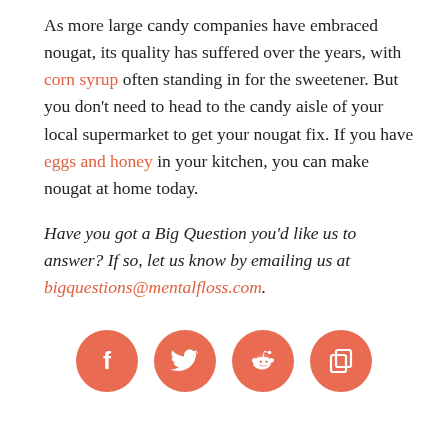As more large candy companies have embraced nougat, its quality has suffered over the years, with corn syrup often standing in for the sweetener. But you don't need to head to the candy aisle of your local supermarket to get your nougat fix. If you have eggs and honey in your kitchen, you can make nougat at home today.
Have you got a Big Question you'd like us to answer? If so, let us know by emailing us at bigquestions@mentalfloss.com.
[Figure (other): Four circular salmon/coral colored social media icon buttons in a row: Facebook (f), Twitter (bird), Reddit (alien), and a copy/share icon.]